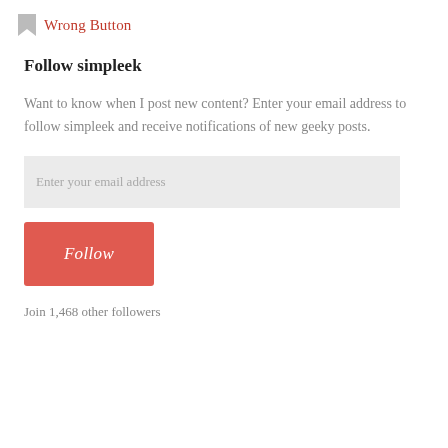Wrong Button
Follow simpleek
Want to know when I post new content? Enter your email address to follow simpleek and receive notifications of new geeky posts.
Enter your email address
Follow
Join 1,468 other followers